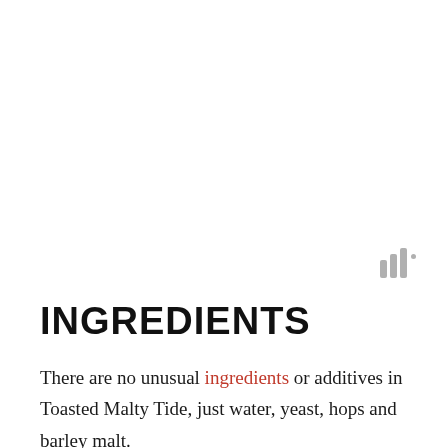[Figure (logo): Small logo consisting of three vertical bars of increasing height with a superscript dot, rendered in grey]
INGREDIENTS
There are no unusual ingredients or additives in Toasted Malty Tide, just water, yeast, hops and barley malt.